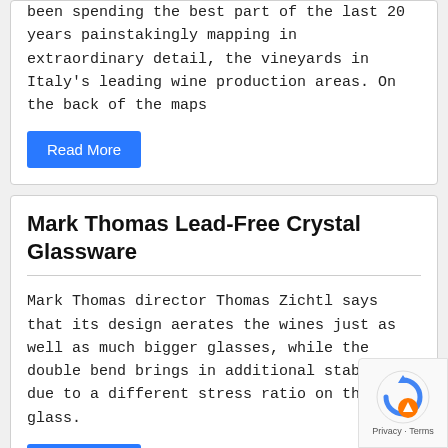been spending the best part of the last 20 years painstakingly mapping in extraordinary detail, the vineyards in Italy's leading wine production areas. On the back of the maps
Read More
Mark Thomas Lead-Free Crystal Glassware
Mark Thomas director Thomas Zichtl says that its design aerates the wines just as well as much bigger glasses, while the double bend brings in additional stability due to a different stress ratio on the glass.
Read More
Wine Behind The Label New 11th Edition